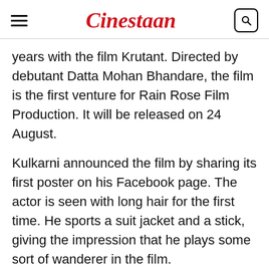Cinestaan
years with the film Krutant. Directed by debutant Datta Mohan Bhandare, the film is the first venture for Rain Rose Film Production. It will be released on 24 August.
Kulkarni announced the film by sharing its first poster on his Facebook page. The actor is seen with long hair for the first time. He sports a suit jacket and a stick, giving the impression that he plays some sort of wanderer in the film.